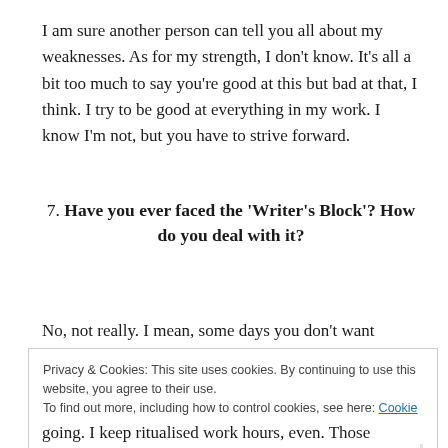I am sure another person can tell you all about my weaknesses. As for my strength, I don't know. It's all a bit too much to say you're good at this but bad at that, I think. I try to be good at everything in my work. I know I'm not, but you have to strive forward.
7. Have you ever faced the 'Writer's Block'? How do you deal with it?
No, not really. I mean, some days you don't want
Privacy & Cookies: This site uses cookies. By continuing to use this website, you agree to their use.
To find out more, including how to control cookies, see here: Cookie Policy
going. I keep ritualised work hours, even. Those